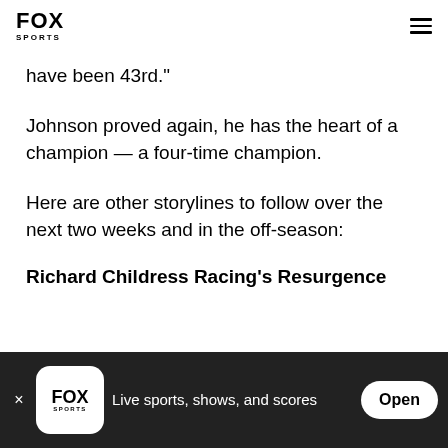FOX SPORTS
have been 43rd."
Johnson proved again, he has the heart of a champion — a four-time champion.
Here are other storylines to follow over the next two weeks and in the off-season:
Richard Childress Racing's Resurgence
FOX SPORTS — Live sports, shows, and scores — Open